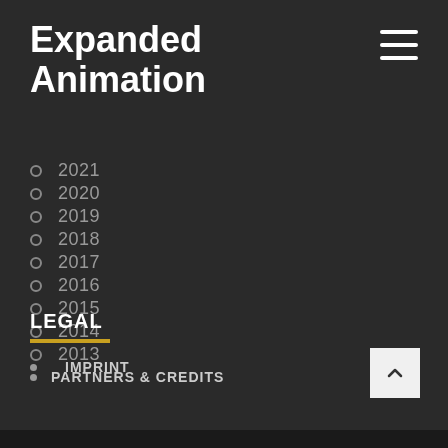Expanded Animation
2021
2020
2019
2018
2017
2016
2015
2014
2013
PARTNERS & CREDITS
LEGAL
IMPRINT